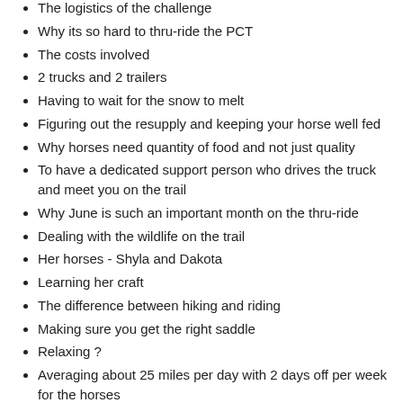The logistics of the challenge
Why its so hard to thru-ride the PCT
The costs involved
2 trucks and 2 trailers
Having to wait for the snow to melt
Figuring out the resupply and keeping your horse well fed
Why horses need quantity of food and not just quality
To have a dedicated support person who drives the truck and meet you on the trail
Why June is such an important month on the thru-ride
Dealing with the wildlife on the trail
Her horses - Shyla and Dakota
Learning her craft
The difference between hiking and riding
Making sure you get the right saddle
Relaxing ?
Averaging about 25 miles per day with 2 days off per week for the horses
Magical moments on the trail
Loving camp life
Snuggling with the horses?
How horses sleep
Earning a living
Being an egg donor to fund her lifestyle
Turning 29 and going back to grad school